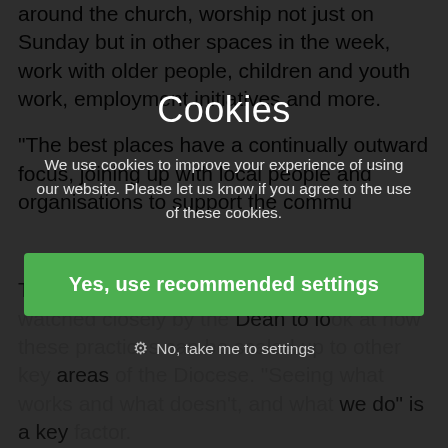around the church, worship not just on Sunday but in other spaces in the week, work with older people, children and youth work, employment initiatives and more.
"The best places have a continually outward focus, joining up with local people and organisations to support the community."
The p... Dean to lo... y areas... What we do' is a key...
Cookies
We use cookies to improve your experience of using our website. Please let us know if you agree to the use of these cookies.
Yes, use recommended settings
No, take me to settings